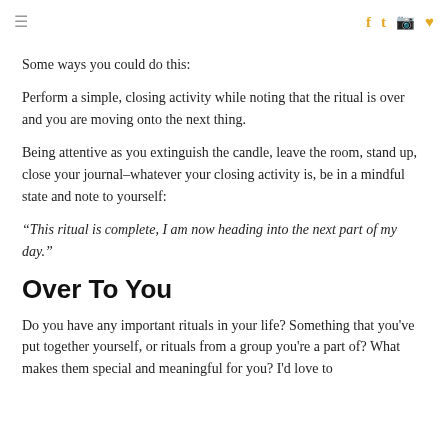≡   f  twitter  instagram  pinterest
Some ways you could do this:
Perform a simple, closing activity while noting that the ritual is over and you are moving onto the next thing.
Being attentive as you extinguish the candle, leave the room, stand up, close your journal–whatever your closing activity is, be in a mindful state and note to yourself:
“This ritual is complete, I am now heading into the next part of my day.”
Over To You
Do you have any important rituals in your life? Something that you've put together yourself, or rituals from a group you're a part of? What makes them special and meaningful for you? I'd love to